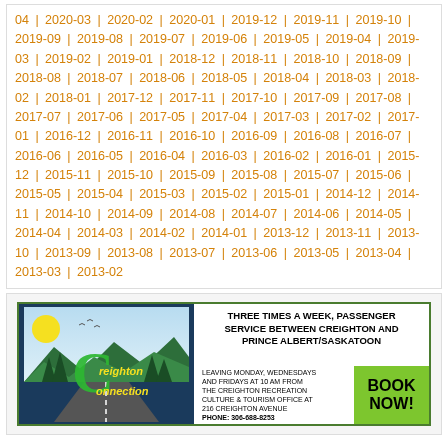04 | 2020-03 | 2020-02 | 2020-01 | 2019-12 | 2019-11 | 2019-10 | 2019-09 | 2019-08 | 2019-07 | 2019-06 | 2019-05 | 2019-04 | 2019-03 | 2019-02 | 2019-01 | 2018-12 | 2018-11 | 2018-10 | 2018-09 | 2018-08 | 2018-07 | 2018-06 | 2018-05 | 2018-04 | 2018-03 | 2018-02 | 2018-01 | 2017-12 | 2017-11 | 2017-10 | 2017-09 | 2017-08 | 2017-07 | 2017-06 | 2017-05 | 2017-04 | 2017-03 | 2017-02 | 2017-01 | 2016-12 | 2016-11 | 2016-10 | 2016-09 | 2016-08 | 2016-07 | 2016-06 | 2016-05 | 2016-04 | 2016-03 | 2016-02 | 2016-01 | 2015-12 | 2015-11 | 2015-10 | 2015-09 | 2015-08 | 2015-07 | 2015-06 | 2015-05 | 2015-04 | 2015-03 | 2015-02 | 2015-01 | 2014-12 | 2014-11 | 2014-10 | 2014-09 | 2014-08 | 2014-07 | 2014-06 | 2014-05 | 2014-04 | 2014-03 | 2014-02 | 2014-01 | 2013-12 | 2013-11 | 2013-10 | 2013-09 | 2013-08 | 2013-07 | 2013-06 | 2013-05 | 2013-04 | 2013-03 | 2013-02
[Figure (illustration): Creighton Connection advertisement banner: Three times a week, passenger service between Creighton and Prince Albert/Saskatoon. Leaving Monday, Wednesdays and Fridays at 10 AM from the Creighton Recreation Culture & Tourism Office at 216 Creighton Avenue. Phone: 306-688-8253. Book Now button in green.]